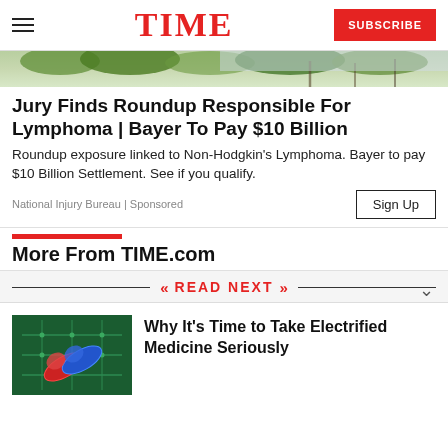TIME — SUBSCRIBE
[Figure (photo): Partial view of an outdoor nature/landscape scene, cropped hero image strip]
Jury Finds Roundup Responsible For Lymphoma | Bayer To Pay $10 Billion
Roundup exposure linked to Non-Hodgkin's Lymphoma. Bayer to pay $10 Billion Settlement. See if you qualify.
National Injury Bureau | Sponsored
More From TIME.com
READ NEXT
[Figure (photo): Close-up of colorful pills/capsules (red and blue) on a green circuit board background]
Why It's Time to Take Electrified Medicine Seriously